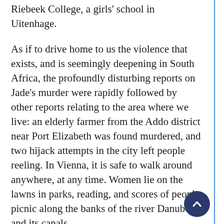Riebeek College, a girls' school in Uitenhage.
As if to drive home to us the violence that exists, and is seemingly deepening in South Africa, the profoundly disturbing reports on Jade's murder were rapidly followed by other reports relating to the area where we live: an elderly farmer from the Addo district near Port Elizabeth was found murdered, and two hijack attempts in the city left people reeling. In Vienna, it is safe to walk around anywhere, at any time. Women lie on the lawns in parks, reading, and scores of people picnic along the banks of the river Danube and its canals.
I know how readers will respond: in South Africa the misery of poverty on the part of millions, contrasted with the wealth of a